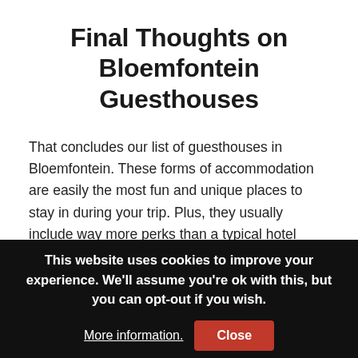Final Thoughts on Bloemfontein Guesthouses
That concludes our list of guesthouses in Bloemfontein. These forms of accommodation are easily the most fun and unique places to stay in during your trip. Plus, they usually include way more perks than a typical hotel room.
Whether you prefer to be close to the main attractions, or in a quiet neighborhood, they’re located in practically all
This website uses cookies to improve your experience. We’ll assume you’re ok with this, but you can opt-out if you wish. More information. Close